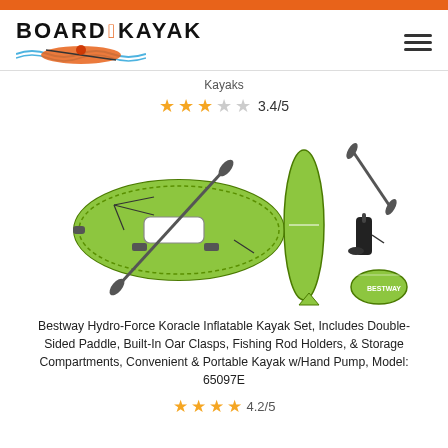BOARD KAYAK
Kayaks
3.4/5
[Figure (photo): Bestway Hydro-Force Koracle Inflatable Kayak shown from top-down view, side profile, with paddle, hand pump, and carry bag accessories. Kayak is bright green/yellow color.]
Bestway Hydro-Force Koracle Inflatable Kayak Set, Includes Double-Sided Paddle, Built-In Oar Clasps, Fishing Rod Holders, & Storage Compartments, Convenient & Portable Kayak w/Hand Pump, Model: 65097E
4.2/5